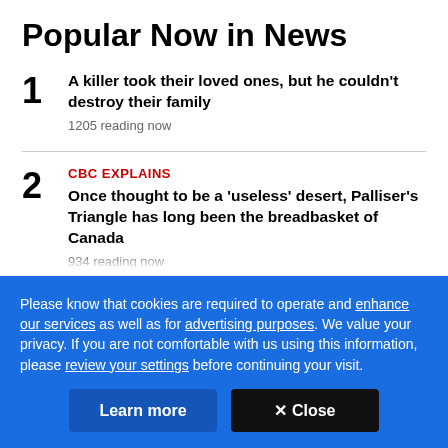Popular Now in News
1 A killer took their loved ones, but he couldn't destroy their family
1205 reading now
2 CBC EXPLAINS
Once thought to be a 'useless' desert, Palliser's Triangle has long been the breadbasket of Canada
934 reading now
Please know that cookies are required to operate and enhance our services as well as for advertising purposes. We value your privacy. If you are not comfortable with us using this information, please review your settings before continuing your visit.